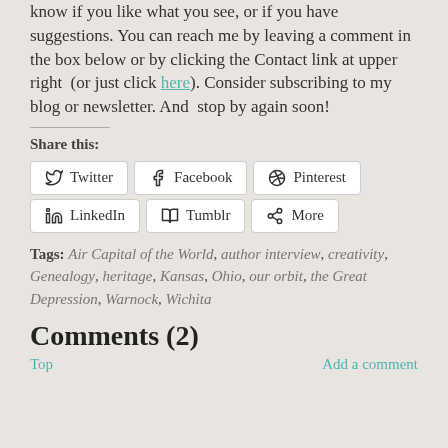know if you like what you see, or if you have suggestions. You can reach me by leaving a comment in the box below or by clicking the Contact link at upper right  (or just click here). Consider subscribing to my blog or newsletter. And  stop by again soon!
Share this:
Twitter | Facebook | Pinterest | LinkedIn | Tumblr | More
Tags: Air Capital of the World, author interview, creativity, Genealogy, heritage, Kansas, Ohio, our orbit, the Great Depression, Warnock, Wichita
Comments (2)
Top | Add a comment